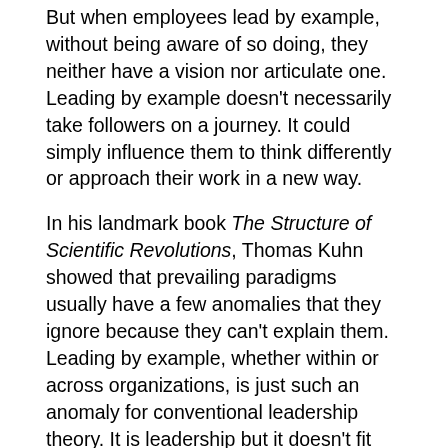But when employees lead by example, without being aware of so doing, they neither have a vision nor articulate one. Leading by example doesn't necessarily take followers on a journey. It could simply influence them to think differently or approach their work in a new way.
In his landmark book The Structure of Scientific Revolutions, Thomas Kuhn showed that prevailing paradigms usually have a few anomalies that they ignore because they can't explain them. Leading by example, whether within or across organizations, is just such an anomaly for conventional leadership theory. It is leadership but it doesn't fit the standard pattern.
A New Definition of  Leadership
Leadership can be defined in general terms as simply showing the way for others. This includes leading by example both within and across organizations. Showing the way for others also occurs through explicit